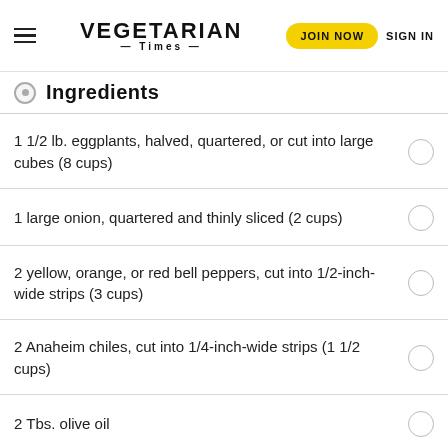VEGETARIAN TIMES | JOIN NOW | SIGN IN
Ingredients
1 1/2 lb. eggplants, halved, quartered, or cut into large cubes (8 cups)
1 large onion, quartered and thinly sliced (2 cups)
2 yellow, orange, or red bell peppers, cut into 1/2-inch-wide strips (3 cups)
2 Anaheim chiles, cut into 1/4-inch-wide strips (1 1/2 cups)
2 Tbs. olive oil
6 cloves garlic, minced (2 Tbs.)